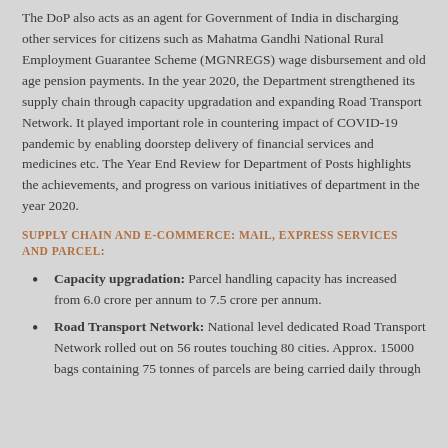The DoP also acts as an agent for Government of India in discharging other services for citizens such as Mahatma Gandhi National Rural Employment Guarantee Scheme (MGNREGS) wage disbursement and old age pension payments. In the year 2020, the Department strengthened its supply chain through capacity upgradation and expanding Road Transport Network. It played important role in countering impact of COVID-19 pandemic by enabling doorstep delivery of financial services and medicines etc. The Year End Review for Department of Posts highlights the achievements, and progress on various initiatives of department in the year 2020.
SUPPLY CHAIN AND E-COMMERCE: MAIL, EXPRESS SERVICES AND PARCEL:
Capacity upgradation: Parcel handling capacity has increased from 6.0 crore per annum to 7.5 crore per annum.
Road Transport Network: National level dedicated Road Transport Network rolled out on 56 routes touching 80 cities. Approx. 15000 bags containing 75 tonnes of parcels are being carried daily through